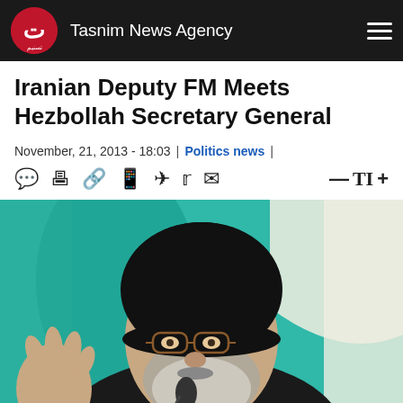Tasnim News Agency
Iranian Deputy FM Meets Hezbollah Secretary General
November, 21, 2013 - 18:03 | Politics news |
[Figure (photo): A bearded man wearing a black clerical turban and glasses speaking into a microphone, with a teal/green background]